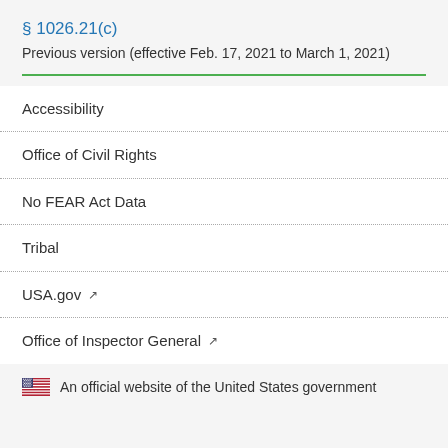§ 1026.21(c)
Previous version (effective Feb. 17, 2021 to March 1, 2021)
Accessibility
Office of Civil Rights
No FEAR Act Data
Tribal
USA.gov ↗
Office of Inspector General ↗
An official website of the United States government